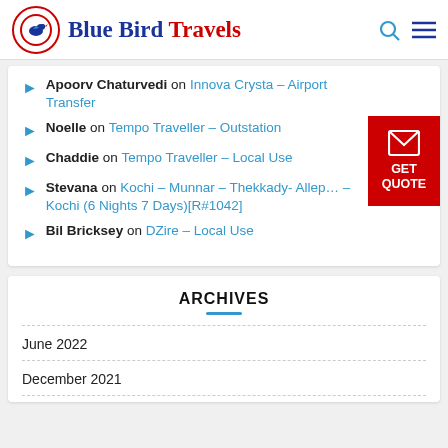Blue Bird Travels
Apoorv Chaturvedi on Innova Crysta – Airport Transfer
Noelle on Tempo Traveller – Outstation
Chaddie on Tempo Traveller – Local Use
Stevana on Kochi – Munnar – Thekkady- Allep… – Kochi (6 Nights 7 Days)[R#1042]
Bil Bricksey on DZire – Local Use
ARCHIVES
June 2022
December 2021